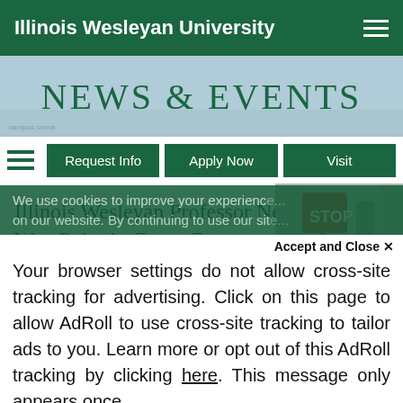Illinois Wesleyan University
[Figure (screenshot): NEWS & EVENTS banner with light blue-grey background and campus imagery]
Request Info | Apply Now | Visit
Illinois Wesleyan Professor Nears Half-Way Point in Cross-Country...
[Figure (photo): Thumbnail photo showing a STOP sign outdoors in winter]
We use cookies to improve your experience on our website. By continuing to use our site...
Accept and Close ×
Your browser settings do not allow cross-site tracking for advertising. Click on this page to allow AdRoll to use cross-site tracking to tailor ads to you. Learn more or opt out of this AdRoll tracking by clicking here. This message only appears once.
County					Creg-snow